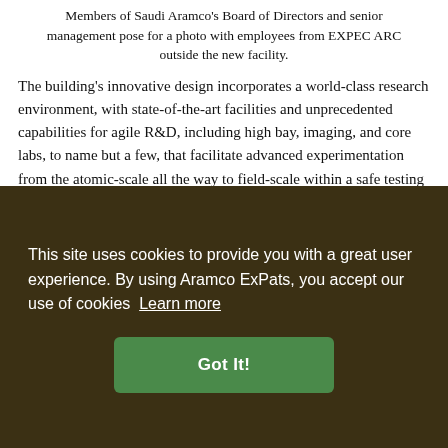Members of Saudi Aramco's Board of Directors and senior management pose for a photo with employees from EXPEC ARC outside the new facility.
The building's innovative design incorporates a world-class research environment, with state-of-the-art facilities and unprecedented capabilities for agile R&D, including high bay, imaging, and core labs, to name but a few, that facilitate advanced experimentation from the atomic-scale all the way to field-scale within a safe testing environment.
The high-bay labs, for example, allow easy reconfiguration to accommodate advanced experiments and future expansions ... And ... latest ... re
This site uses cookies to provide you with a great user experience. By using Aramco ExPats, you accept our use of cookies Learn more